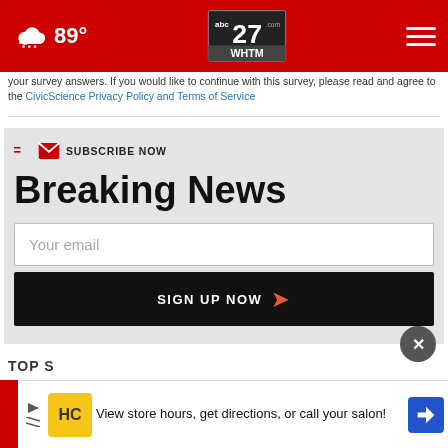89° abc27 WHTM.com
your survey answers. If you would like to continue with this survey, please read and agree to the CivicScience Privacy Policy and Terms of Service
Breaking News
SUBSCRIBE NOW
Your email
SIGN UP NOW
TOP S
View store hours, get directions, or call your salon!